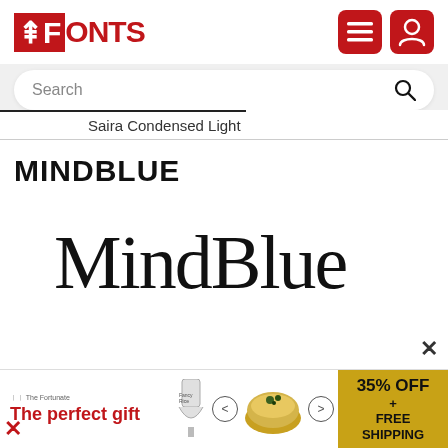FONTS (logo) — menu and user icons
Search
Saira Condensed Light
MINDBLUE
[Figure (illustration): MindBlue font preview showing the word 'MindBlue' in a light condensed serif-style typeface]
[Figure (infographic): Advertisement banner: 'The perfect gift' with food product images, arrows, and '35% OFF + FREE SHIPPING' in gold background]